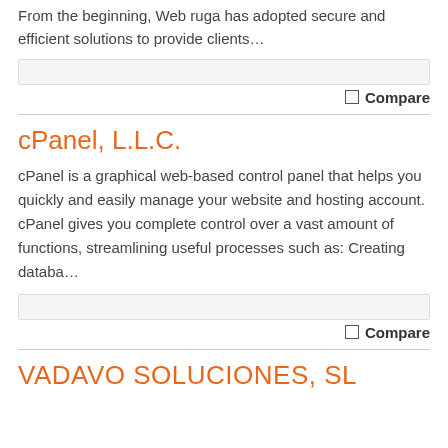From the beginning, Web ruga has adopted secure and efficient solutions to provide clients…
Compare
cPanel, L.L.C.
cPanel is a graphical web-based control panel that helps you quickly and easily manage your website and hosting account. cPanel gives you complete control over a vast amount of functions, streamlining useful processes such as: Creating databa…
Compare
VADAVO SOLUCIONES, SL